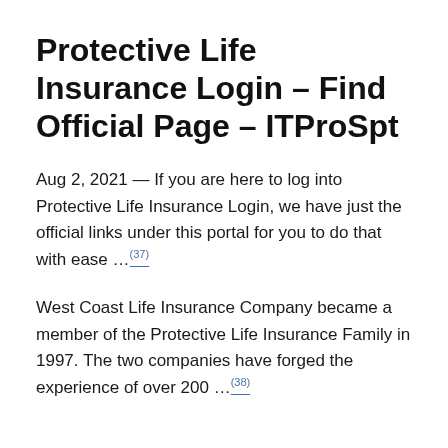Protective Life Insurance Login – Find Official Page – ITProSpt
Aug 2, 2021 — If you are here to log into Protective Life Insurance Login, we have just the official links under this portal for you to do that with ease …(37)
West Coast Life Insurance Company became a member of the Protective Life Insurance Family in 1997. The two companies have forged the experience of over 200 …(38)